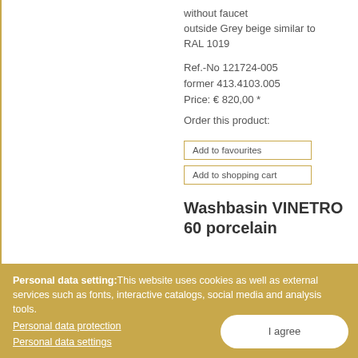without faucet
outside Grey beige similar to RAL 1019
Ref.-No 121724-005
former 413.4103.005
Price: € 820,00 *
Order this product:
Add to favourites
Add to shopping cart
Washbasin VINETRO 60 porcelain
Personal data setting: This website uses cookies as well as external services such as fonts, interactive catalogs, social media and analysis tools.
Personal data protection
Personal data settings
I agree